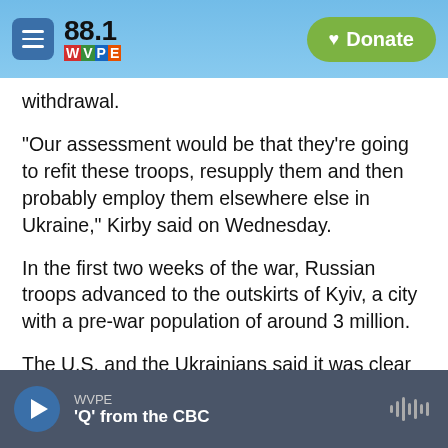88.1 WVPE — Donate
withdrawal.
"Our assessment would be that they're going to refit these troops, resupply them and then probably employ them elsewhere else in Ukraine," Kirby said on Wednesday.
In the first two weeks of the war, Russian troops advanced to the outskirts of Kyiv, a city with a pre-war population of around 3 million.
The U.S. and the Ukrainians said it was clear that the Russians wanted to oust President Volodymyr Zelenskyy and his government. But the Russians
WVPE — 'Q' from the CBC